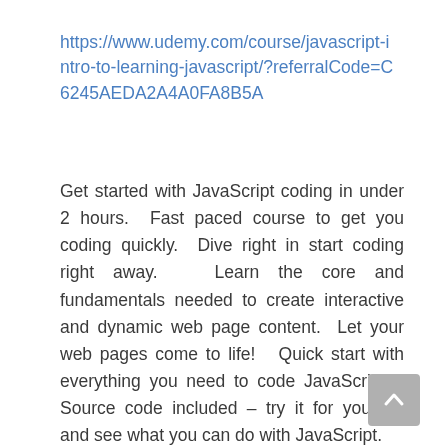https://www.udemy.com/course/javascript-intro-to-learning-javascript/?referralCode=C6245AEDA2A4A0FA8B5A
Get started with JavaScript coding in under 2 hours.  Fast paced course to get you coding quickly.  Dive right in start coding right away.   Learn the core and fundamentals needed to create interactive and dynamic web page content.  Let your web pages come to life!   Quick start with everything you need to code JavaScript.   Source code included – try it for yourself and see what you can do with JavaScript.